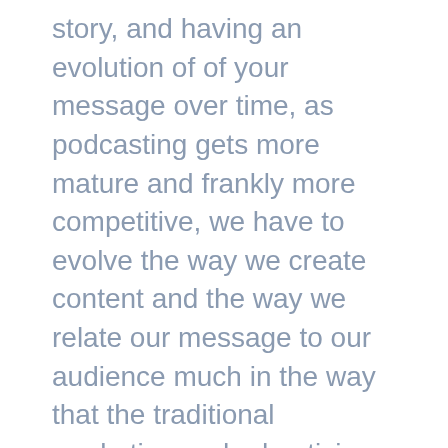story, and having an evolution of of your message over time, as podcasting gets more mature and frankly more competitive, we have to evolve the way we create content and the way we relate our message to our audience much in the way that the traditional marketing and advertising has changed over time. Jared Grimm from pressboard shares a analogy around this that I think will resonate with everybody.
Speaker 3 01:55 So when you think of moving from a banner ad saying, Hey, we've got great shoes and those shoes are on sale and you should buy those shoes to try to tell the story, it's quite a bit different. So it's the different, you're using different marketing muscles and instead of looking to things like, you know,